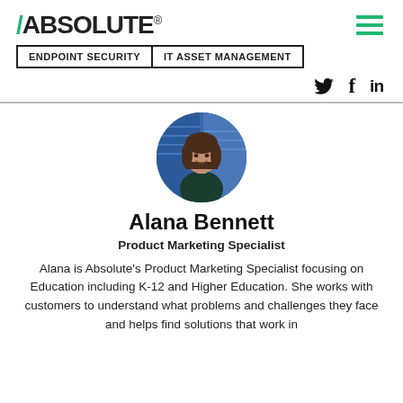/ABSOLUTE®
ENDPOINT SECURITY | IT ASSET MANAGEMENT
[Figure (photo): Circular profile photo of Alana Bennett, a woman with brown hair, smiling, wearing a dark top against a blue server background]
Alana Bennett
Product Marketing Specialist
Alana is Absolute's Product Marketing Specialist focusing on Education including K-12 and Higher Education. She works with customers to understand what problems and challenges they face and helps find solutions that work in